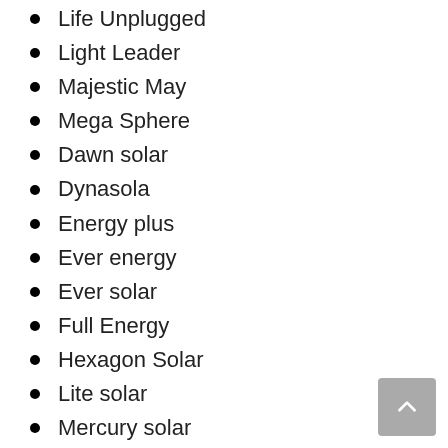Life Unplugged
Light Leader
Majestic May
Mega Sphere
Dawn solar
Dynasola
Energy plus
Ever energy
Ever solar
Full Energy
Hexagon Solar
Lite solar
Mercury solar
Solar Planet
Targetenergy
Tetrasolar
Tristarsolar
Unisolar